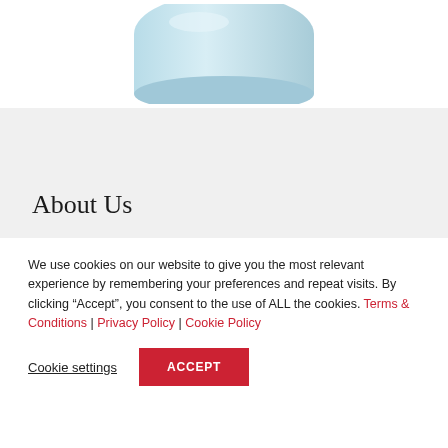[Figure (illustration): Partial view of a light blue product (appears to be a container or package) shown from above against a white background]
About Us
We use cookies on our website to give you the most relevant experience by remembering your preferences and repeat visits. By clicking “Accept”, you consent to the use of ALL the cookies. Terms & Conditions | Privacy Policy | Cookie Policy
Cookie settings  ACCEPT